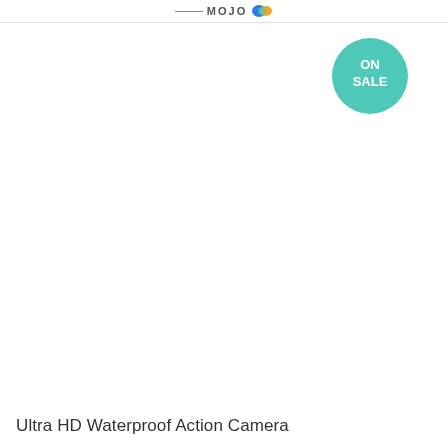MOJO
[Figure (other): ON SALE badge — teal circular badge with white text reading ON SALE]
[Figure (photo): Product image area — mostly white/blank, appears to be a product listing page for an Ultra HD Waterproof Action Camera]
Ultra HD Waterproof Action Camera